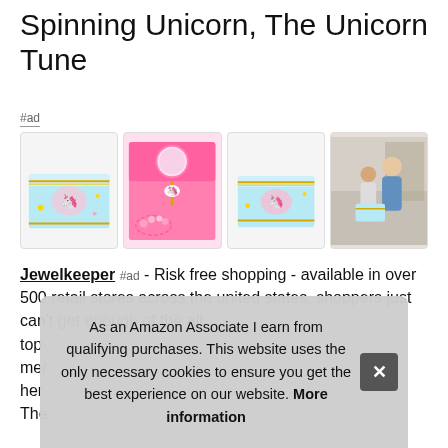Spinning Unicorn, The Unicorn Tune
#ad
[Figure (photo): Four product images of a Jewelkeeper unicorn music jewelry box: exterior view, interior open view with spinning figurine, side exterior view, and lifestyle photo of mother and daughter looking at the box]
Jewelkeeper #ad - Risk free shopping - available in over 500 retail stores across the united states, shoppers just can't get enough of the all... [text continues behind overlay] top- mer her The
As an Amazon Associate I earn from qualifying purchases. This website uses the only necessary cookies to ensure you get the best experience on our website. More information